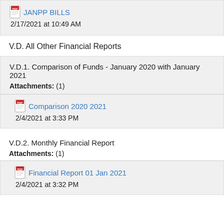[Figure (other): PDF icon]
JANPP BILLS
2/17/2021 at 10:49 AM
V.D. All Other Financial Reports
V.D.1. Comparison of Funds - January 2020 with January 2021
Attachments: (1)
[Figure (other): PDF icon]
Comparison 2020 2021
2/4/2021 at 3:33 PM
V.D.2. Monthly Financial Report
Attachments: (1)
[Figure (other): PDF icon]
Financial Report 01 Jan 2021
2/4/2021 at 3:32 PM